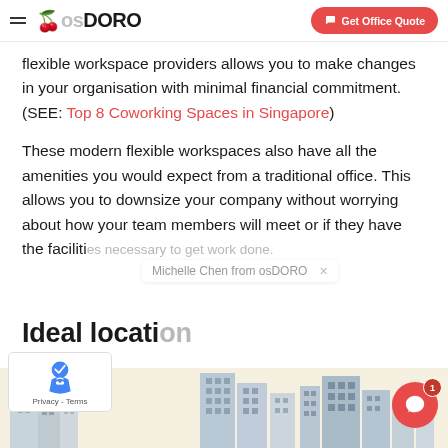osDORO – Get Office Quote
flexible workspace providers allows you to make changes in your organisation with minimal financial commitment. (SEE: Top 8 Coworking Spaces in Singapore)
These modern flexible workspaces also have all the amenities you would expect from a traditional office. This allows you to downsize your company without worrying about how your team members will meet or if they have the facilities necessary to get work done.
Michelle Chen from osDORO
Ideal location
[Figure (photo): City skyline with tall office buildings on a light background]